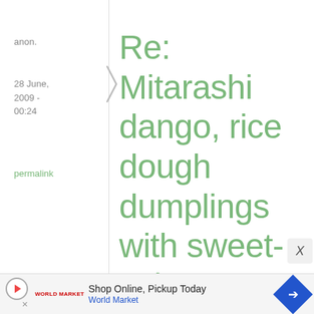anon.
28 June, 2009 - 00:24
permalink
Re: Mitarashi dango, rice dough dumplings with sweet-salty ...
can you substitute both joushinko and shiratamako with mochiko?
Shop Online, Pickup Today
World Market